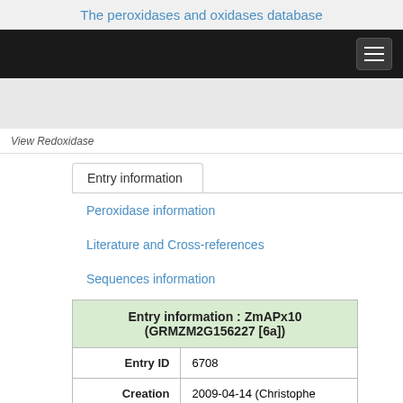The peroxidases and oxidases database
View Redoxidase
Entry information
Peroxidase information
Literature and Cross-references
Sequences information
| Entry information : ZmAPx10 (GRMZM2G156227 [6a]) |
| --- |
| Entry ID | 6708 |
| Creation | 2009-04-14 (Christophe Dunand) |